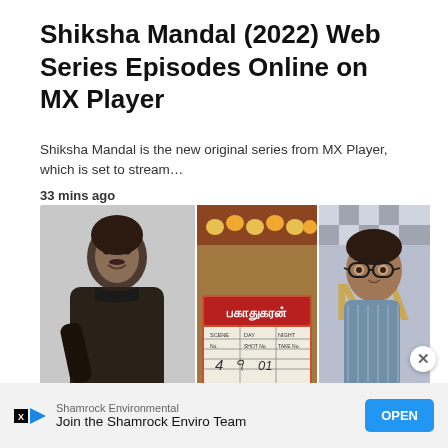Shiksha Mandal (2022) Web Series Episodes Online on MX Player
Shiksha Mandal is the new original series from MX Player, which is set to stream…
33 mins ago
[Figure (photo): Collage of three images: left shows a man in a dark shirt, center shows a clapperboard with Tamil text reading 'Pakauthiran' with flowers above it, right shows a man with glasses in a checkered shirt against a patterned background with gold letters]
Shamrock Environmental
Join the Shamrock Enviro Team